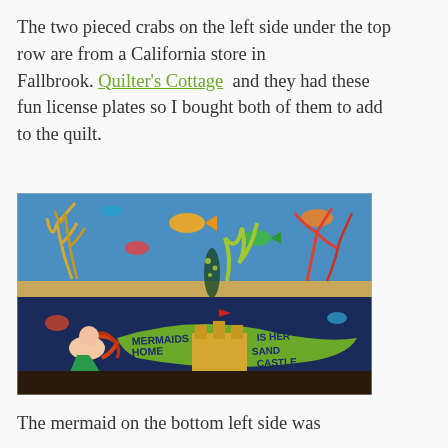The two pieced crabs on the left side under the top row are from a California store in Fallbrook. Quilter's Cottage  and they had these fun license plates so I bought both of them to add to the quilt.
[Figure (photo): A quilt showing ocean-themed panels: upper panel with colorful coral, fish, and sea plants on blue background; lower panel with a mermaid, sandcastle, and text reading 'MERMAIDS IS HER HOME SAND CASTLE' on dark blue background.]
The mermaid on the bottom left side was